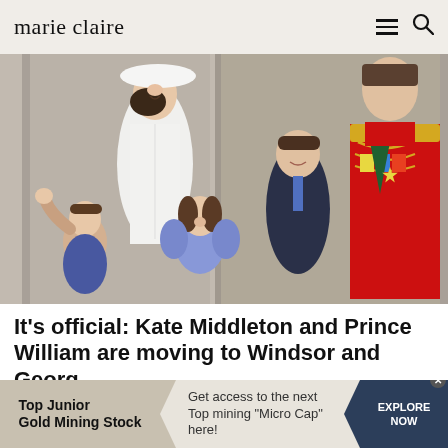marie claire
[Figure (photo): Kate Middleton in white outfit and hat, laughing, standing with Prince William in red military uniform. Three children in front: Prince Louis waving, Princess Charlotte in blue dress, Prince George in dark suit.]
It's official: Kate Middleton and Prince William are moving to Windsor and Georg...
After months of speculation by royal commentators, fans and reporters, Kensington Palace have finally confirmed
Top Junior Gold Mining Stock  Get access to the next Top mining "Micro Cap" here!  EXPLORE NOW